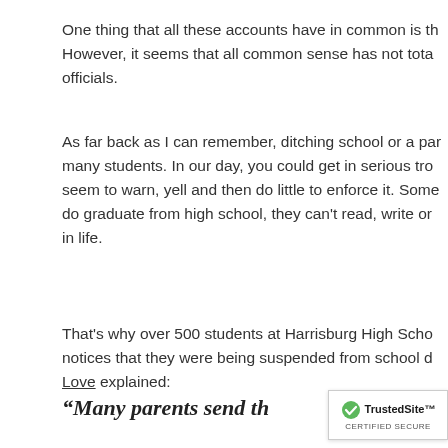One thing that all these accounts have in common is th... However, it seems that all common sense has not tota... officials.
As far back as I can remember, ditching school or a par... many students. In our day, you could get in serious tro... seem to warn, yell and then do little to enforce it. Some... do graduate from high school, they can't read, write or... in life.
That's why over 500 students at Harrisburg High Scho... notices that they were being suspended from school d... Love explained:
“Many parents send th...